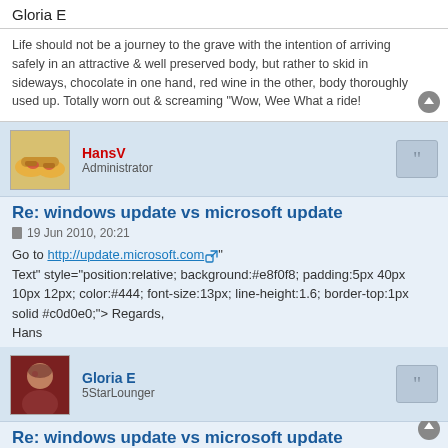Gloria E
Life should not be a journey to the grave with the intention of arriving safely in an attractive & well preserved body, but rather to skid in sideways, chocolate in one hand, red wine in the other, body thoroughly used up. Totally worn out & screaming "Wow, Wee What a ride!
HansV
Administrator
Re: windows update vs microsoft update
19 Jun 2010, 20:21
Go to http://update.microsoft.com onclick="window.open(this.href);return false;. You'll probably be asked permission to install some components. It's OK to do so.
Regards,
Hans
Gloria E
5StarLounger
Re: windows update vs microsoft update
19 Jun 2010, 20:41